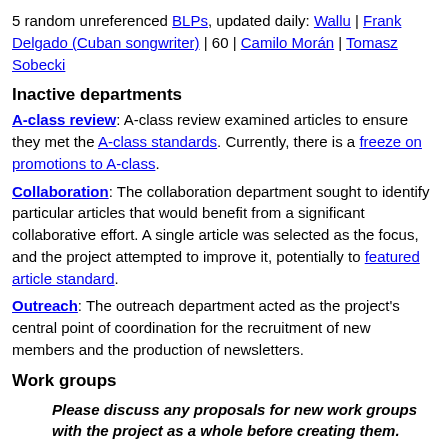5 random unreferenced BLPs, updated daily: Wallu | Frank Delgado (Cuban songwriter) | 60 | Camilo Morán | Tomasz Sobecki
Inactive departments
A-class review: A-class review examined articles to ensure they met the A-class standards. Currently, there is a freeze on promotions to A-class.
Collaboration: The collaboration department sought to identify particular articles that would benefit from a significant collaborative effort. A single article was selected as the focus, and the project attempted to improve it, potentially to featured article standard.
Outreach: The outreach department acted as the project's central point of coordination for the recruitment of new members and the production of newsletters.
Work groups
Please discuss any proposals for new work groups with the project as a whole before creating them.